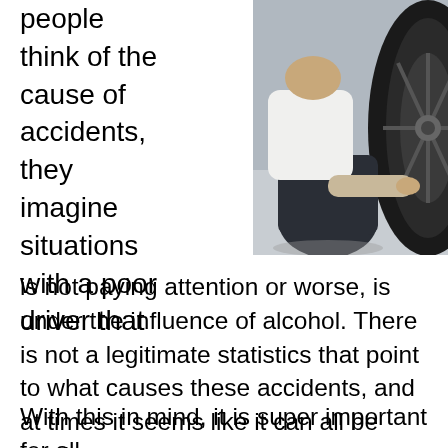people think of the cause of accidents, they imagine situations with a poor driver that
[Figure (photo): A person crouching down next to a car wheel/tire, inspecting or working on it. The person is wearing a white shirt and dark pants.]
is not paying attention or worse, is under the influence of alcohol. There is not a legitimate statistics that point to what causes these accidents, and at times it seems like it can all be random.
With this in mind, it is super important for all